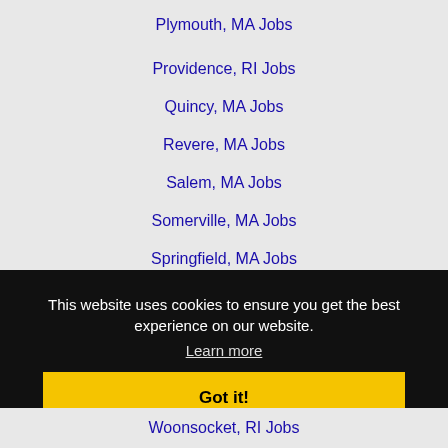Plymouth, MA Jobs
Providence, RI Jobs
Quincy, MA Jobs
Revere, MA Jobs
Salem, MA Jobs
Somerville, MA Jobs
Springfield, MA Jobs
Stratford, CT Jobs
Taunton, MA Jobs
This website uses cookies to ensure you get the best experience on our website.
Learn more
Got it!
Woonsocket, RI Jobs